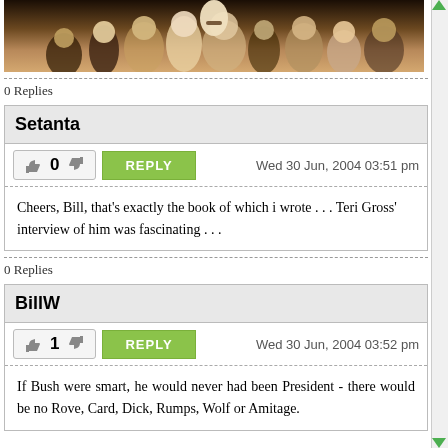[Figure (photo): Black and white / sepia photograph of a crowd of people]
0 Replies
Setanta
0   Wed 30 Jun, 2004 03:51 pm   REPLY
Cheers, Bill, that's exactly the book of which i wrote . . . Teri Gross' interview of him was fascinating . . .
0 Replies
BillW
1   Wed 30 Jun, 2004 03:52 pm   REPLY
If Bush were smart, he would never had been President - there would be no Rove, Card, Dick, Rumps, Wolf or Armitage.